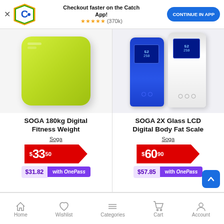[Figure (screenshot): App download banner with Catch logo, 5-star rating (370k reviews), and 'CONTINUE IN APP' button]
[Figure (photo): SOGA 180kg Digital Fitness Weight Scale - lime green glossy square scale]
SOGA 180kg Digital Fitness Weight
Soga
$33.50
$31.82 with OnePass
[Figure (photo): SOGA 2X Glass LCD Digital Body Fat Scale - blue and white upright scales]
SOGA 2X Glass LCD Digital Body Fat Scale
Soga
$60.90
$57.85 with OnePass
Home  Wishlist  Categories  Cart  Account